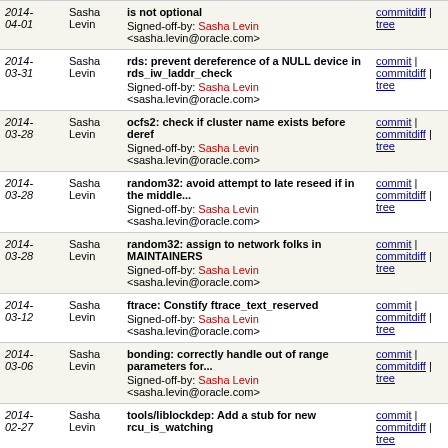| Date | Author | Description | Links |
| --- | --- | --- | --- |
| 2014-04-01 | Sasha Levin | is not optional
Signed-off-by: Sasha Levin <sasha.levin@oracle.com> | commit | commitdiff | tree |
| 2014-03-31 | Sasha Levin | rds: prevent dereference of a NULL device in rds_iw_laddr_check
Signed-off-by: Sasha Levin <sasha.levin@oracle.com> | commit | commitdiff | tree |
| 2014-03-28 | Sasha Levin | ocfs2: check if cluster name exists before deref
Signed-off-by: Sasha Levin <sasha.levin@oracle.com> | commit | commitdiff | tree |
| 2014-03-28 | Sasha Levin | random32: avoid attempt to late reseed if in the middle...
Signed-off-by: Sasha Levin <sasha.levin@oracle.com> | commit | commitdiff | tree |
| 2014-03-28 | Sasha Levin | random32: assign to network folks in MAINTAINERS
Signed-off-by: Sasha Levin <sasha.levin@oracle.com> | commit | commitdiff | tree |
| 2014-03-12 | Sasha Levin | ftrace: Constify ftrace_text_reserved
Signed-off-by: Sasha Levin <sasha.levin@oracle.com> | commit | commitdiff | tree |
| 2014-03-06 | Sasha Levin | bonding: correctly handle out of range parameters for...
Signed-off-by: Sasha Levin <sasha.levin@oracle.com> | commit | commitdiff | tree |
| 2014-02-27 | Sasha Levin | tools/liblockdep: Add a stub for new rcu_is_watching | commit | commitdiff | tree |